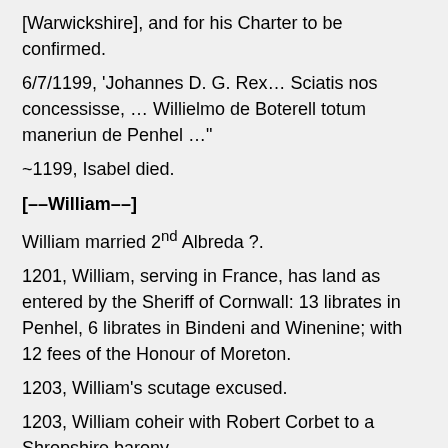[Warwickshire], and for his Charter to be confirmed.
6/7/1199, 'Johannes D. G. Rex… Sciatis nos concessisse, … Willielmo de Boterell totum maneriun de Penhel …"
~1199, Isabel died.
[––William––]
William married 2nd Albreda ?.
1201, William, serving in France, has land as entered by the Sheriff of Cornwall: 13 librates in Penhel, 6 librates in Bindeni and Winenine; with 12 fees of the Honour of Moreton.
1203, William's scutage excused.
1203, William coheir with Robert Corbet to a Shropshire barony.
9/1203-6/1204, William of Warwickshire fined for obtaining the marriage of Albreda, widow of John de Ingeham, daughter and coheir of Walter Waleran; paying 2 horses and